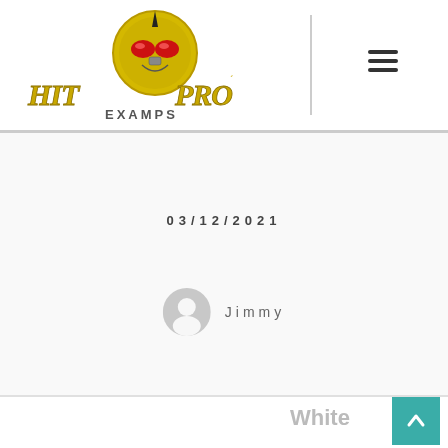[Figure (logo): Hit Pro Examps logo with stylized martial arts character and gold metallic text]
03/12/2021
Jimmy
White